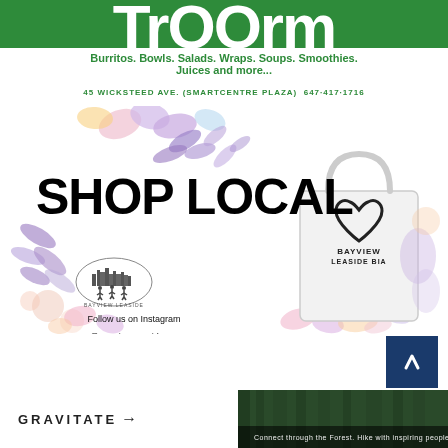[Figure (logo): Top green banner with large white text 'TrOOrm' (partial, cropped at top)]
Burritos. Bowls. Salads. Wraps. Soups. Smoothies. Juices and more...
45 WICKSTEED AVE. (SMARTCENTRE PLAZA)  647·417·1716
[Figure (illustration): Shop Local promotional image with floral decorations, SHOP LOCAL text in bold black, Bayview Leaside BIA logo, tote bag with BAYVIEW LEASIDE BIA heart logo, colorful watercolor flowers and leaves]
Follow us on Instagram @BayviewLeasideBIA WWW.BAYVIEWLEASIDEBIA.COM
[Figure (logo): GRAVITATE with arrow logo and dark forest photograph]
GRAVITATE →